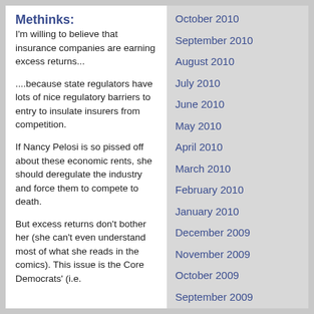Methinks:
I'm willing to believe that insurance companies are earning excess returns...
....because state regulators have lots of nice regulatory barriers to entry to insulate insurers from competition.
If Nancy Pelosi is so pissed off about these economic rents, she should deregulate the industry and force them to compete to death.
But excess returns don't bother her (she can't even understand most of what she reads in the comics). This issue is the Core Democrats' (i.e.
October 2010
September 2010
August 2010
July 2010
June 2010
May 2010
April 2010
March 2010
February 2010
January 2010
December 2009
November 2009
October 2009
September 2009
August 2009
July 2009
June 2009
May 2009
April 2009
March 2009
February 2009